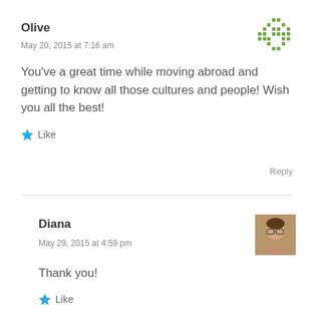Olive
May 20, 2015 at 7:16 am
[Figure (other): Green pixel/mosaic avatar icon for Olive]
You’ve a great time while moving abroad and getting to know all those cultures and people! Wish you all the best!
Like
Reply
Diana
May 29, 2015 at 4:59 pm
[Figure (photo): Small profile photo of Diana, a woman with glasses]
Thank you!
Like